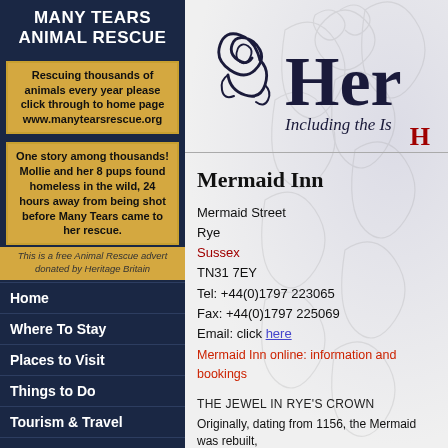MANY TEARS ANIMAL RESCUE
Rescuing thousands of animals every year please click through to home page www.manytearsrescue.org
[Figure (photo): Two dogs side by side - a border collie on left and a black and tan dog on right]
One story among thousands! Mollie and her 8 pups found homeless in the wild, 24 hours away from being shot before Many Tears came to her rescue.
This is a free Animal Rescue advert donated by Heritage Britain
Home
Where To Stay
Places to Visit
Things to Do
Tourism & Travel
Ancestry
Books
Contact
[Figure (logo): Heritage Britain logo with decorative swirl and 'Her' text visible, with subtitle 'Including the Is...']
H
Mermaid Inn
Mermaid Street
Rye
Sussex
TN31 7EY
Tel: +44(0)1797 223065
Fax: +44(0)1797 225069
Email: click here
Mermaid Inn online: information and bookings
THE JEWEL IN RYE'S CROWN
Originally, dating from 1156, the Mermaid was rebuilt,